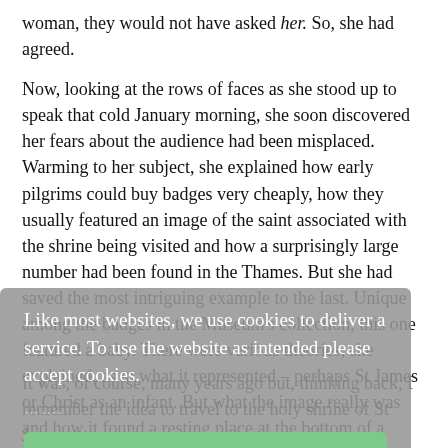woman, they would not have asked her. So, she had agreed.
Now, looking at the rows of faces as she stood up to speak that cold January morning, she soon discovered her fears about the audience had been misplaced. Warming to her subject, she explained how early pilgrims could buy badges very cheaply, how they usually featured an image of the saint associated with the shrine being visited and how a surprisingly large number had been found in the Thames. But she had saved the most intriguing example to the last. Unique among the badges in the Museum’s collection, this one featured a baby. There were various theories, she explained, as to what it represented – perhaps St James or Christ as an infant. But what the image really was and how it found a resting place at the bottom of a London river would, she felt sure, forever remain a mystery.
[Figure (screenshot): Cookie consent overlay with grey background reading 'Like most websites, we use cookies to deliver a service. To use the website as intended please accept cookies.' followed by dots and a green 'Accept Cookies' button.]
It was, of course, many years ago but, thinking back, I remember the idea to travel to the holy shrine of St James, at